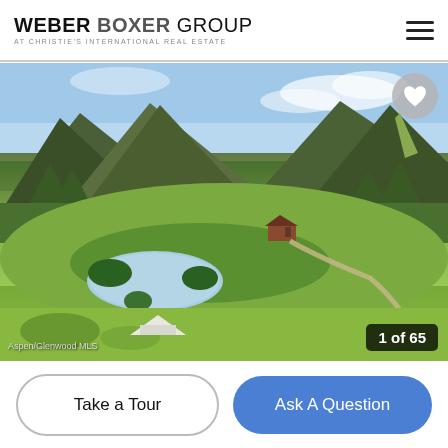WEBER BOXER GROUP — AT CHRISTIE'S INTERNATIONAL REAL ESTATE
[Figure (photo): Aerial view of a mountain ranch property with green meadows, a pond, forested hillsides, and mountain ridges in the background. A farmhouse is visible in the mid-ground with a road leading to it. Counter shows 1 of 65.]
Aspen/Glenwood MLS
Take a Tour
Ask A Question